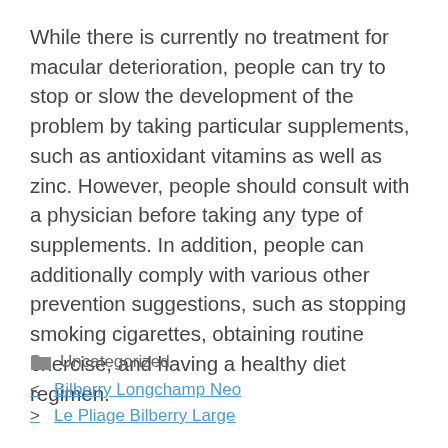While there is currently no treatment for macular deterioration, people can try to stop or slow the development of the problem by taking particular supplements, such as antioxidant vitamins as well as zinc. However, people should consult with a physician before taking any type of supplements. In addition, people can additionally comply with various other prevention suggestions, such as stopping smoking cigarettes, obtaining routine exercise, and having a healthy diet regimen.
Uncategorized
< Bilberry Longchamp Neo
> Le Pliage Bilberry Large